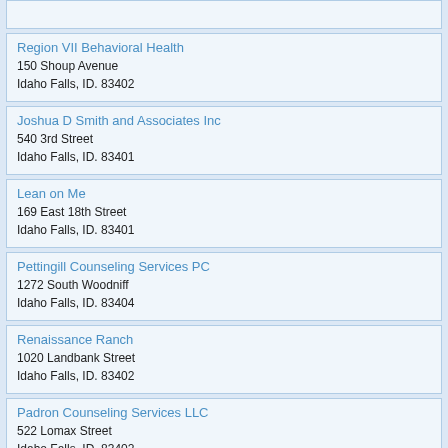[partial entry at top]
Region VII Behavioral Health
150 Shoup Avenue
Idaho Falls, ID. 83402
Joshua D Smith and Associates Inc
540 3rd Street
Idaho Falls, ID. 83401
Lean on Me
169 East 18th Street
Idaho Falls, ID. 83401
Pettingill Counseling Services PC
1272 South Woodniff
Idaho Falls, ID. 83404
Renaissance Ranch
1020 Landbank Street
Idaho Falls, ID. 83402
Padron Counseling Services LLC
522 Lomax Street
Idaho Falls, ID. 83402
Human Dynamics and Diagnostics
3007 Teton Pl...